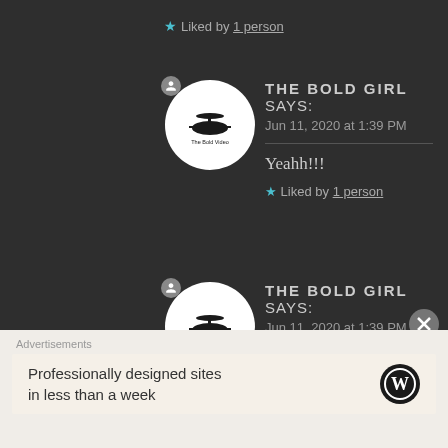★ Liked by 1 person
THE BOLD GIRL says: Jun 11, 2020 at 1:39 PM
Yeahh!!!
★ Liked by 1 person
THE BOLD GIRL says: Jun 11, 2020 at 1:39 PM
Advertisements
Professionally designed sites in less than a week